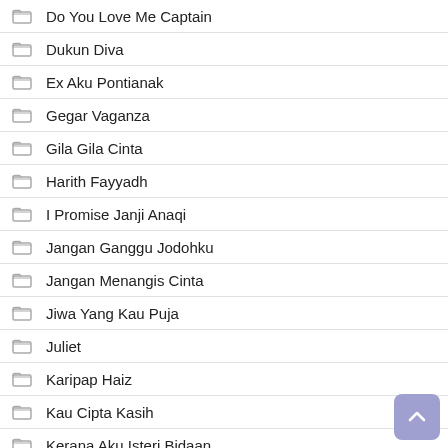Do You Love Me Captain
Dukun Diva
Ex Aku Pontianak
Gegar Vaganza
Gila Gila Cinta
Harith Fayyadh
I Promise Janji Anaqi
Jangan Ganggu Jodohku
Jangan Menangis Cinta
Jiwa Yang Kau Puja
Juliet
Karipap Haiz
Kau Cipta Kasih
Kerana Aku Isteri Bidaan